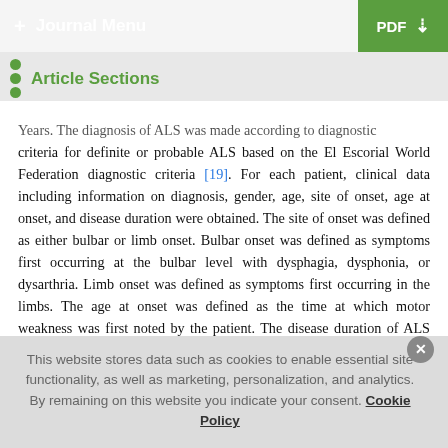+ Journal Menu | PDF ↓
Article Sections
Years. The diagnosis of ALS was made according to diagnostic criteria for definite or probable ALS based on the El Escorial World Federation diagnostic criteria [19]. For each patient, clinical data including information on diagnosis, gender, age, site of onset, age at onset, and disease duration were obtained. The site of onset was defined as either bulbar or limb onset. Bulbar onset was defined as symptoms first occurring at the bulbar level with dysphagia, dysphonia, or dysarthria. Limb onset was defined as symptoms first occurring in the limbs. The age at onset was defined as the time at which motor weakness was first noted by the patient. The disease duration of ALS was defined as the time since onset (first symptoms), or between onset and
This website stores data such as cookies to enable essential site functionality, as well as marketing, personalization, and analytics. By remaining on this website you indicate your consent. Cookie Policy